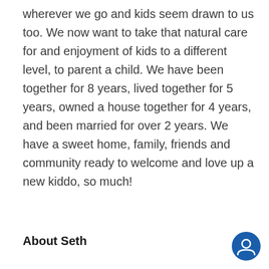wherever we go and kids seem drawn to us too. We now want to take that natural care for and enjoyment of kids to a different level, to parent a child. We have been together for 8 years, lived together for 5 years, owned a house together for 4 years, and been married for over 2 years. We have a sweet home, family, friends and community ready to welcome and love up a new kiddo, so much!
About Seth